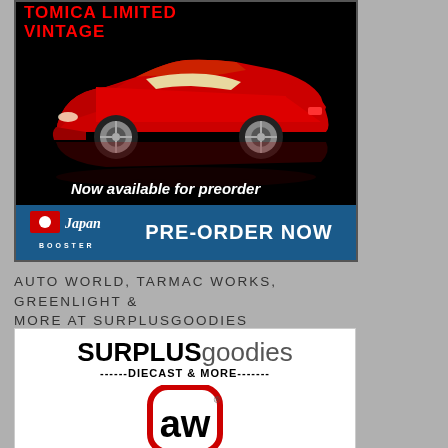[Figure (illustration): Tomica Limited Vintage ad showing a red Ferrari 328 GTS die-cast model car on a black background with 'Now available for preorder' text and a blue bar at the bottom showing Japan Booster logo and 'PRE-ORDER NOW' text.]
AUTO WORLD, TARMAC WORKS, GREENLIGHT & MORE AT SURPLUSGOODIES
[Figure (logo): SURPLUSgoodies logo with text 'SURPLUSgoodies ------DIECAST & MORE-------' and an Auto World logo (circular 'aw' with 'Auto World' branding) below.]